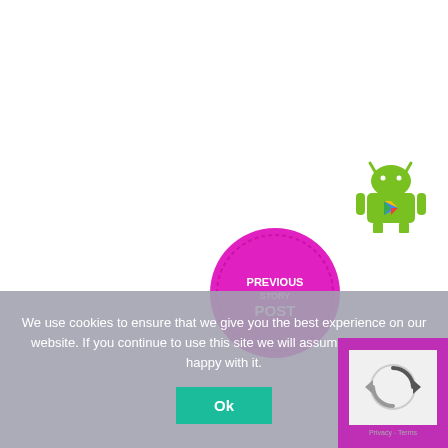[Figure (illustration): Android robot mascot with Google Play logo on chest, green color, positioned upper right area]
[Figure (illustration): Circular magenta/pink badge with 'POST' text in center]
We use cookies to ensure that we give you the best experience on our website. If you continue to use this site we will assume that you are happy with it.
[Figure (illustration): Ok button - teal/green colored button]
[Figure (logo): reCAPTCHA logo with privacy/terms text, inside magenta box]
[Figure (illustration): Magenta scroll-to-top button with upward arrow]